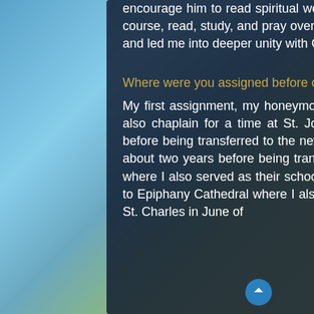encourage him to read spiritual works by the saints and respected theologians, and, of course, read, study, and pray over Sacred Scripture. Reading the Bible changed my life and led me into deeper unity with God.
Where were you assigned before coming to St. Charles Borromeo?
My first assignment, my honeymoon, was at St. William in Naples. While there, I was also chaplain for a time at St. John Neumann High School. I was there for 5 years before being transferred to the new parish of St. Agnes, also in Naples. I was there for about two years before being transferred to St. Francis Xavier in downtown Ft. Myers, where I also served as their school's chaplain. After 1 1/2 years, I was then transferred to Epiphany Cathedral where I also served as their school chaplain. I was assigned to St. Charles in June of